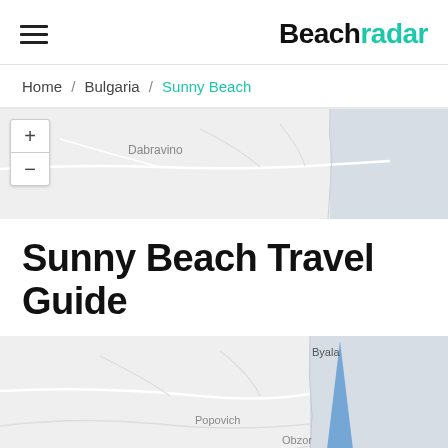Beachradar
Home / Bulgaria / Sunny Beach
[Figure (map): Map showing Dabravino area with zoom controls (+/-)]
Sunny Beach Travel Guide
[Figure (map): Map showing Byala, Popovich, Obzor, Banya area with a blue triangular marker]